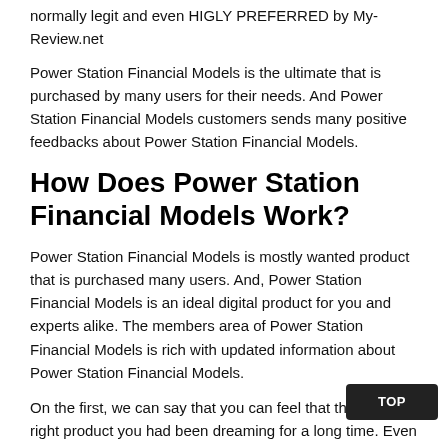normally legit and even HIGLY PREFERRED by My-Review.net
Power Station Financial Models is the ultimate that is purchased by many users for their needs. And Power Station Financial Models customers sends many positive feedbacks about Power Station Financial Models.
How Does Power Station Financial Models Work?
Power Station Financial Models is mostly wanted product that is purchased many users. And, Power Station Financial Models is an ideal digital product for you and experts alike. The members area of Power Station Financial Models is rich with updated information about Power Station Financial Models.
On the first, we can say that you can feel that this is the right product you had been dreaming for a long time. Even though I was doubtful of the value of Power Station Financial Models. If you download Power Station Financial Models and do not enjoy it. Do not worry about Power Station Financial Models.